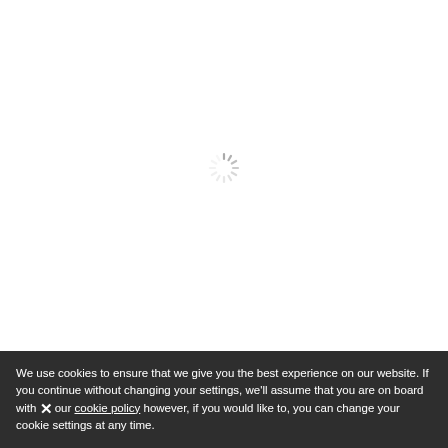[Figure (other): Loading spinner icon — circular arrangement of radial dashes in gray, indicating a loading state]
We use cookies to ensure that we give you the best experience on our website. If you continue without changing your settings, we'll assume that you are on board with our cookie policy however, if you would like to, you can change your cookie settings at any time.